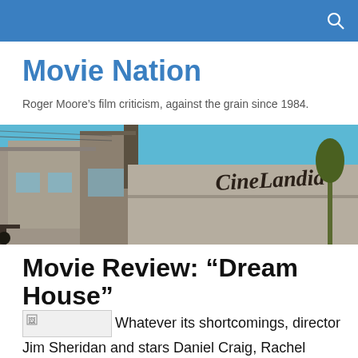Movie Nation
Movie Nation
Roger Moore’s film criticism, against the grain since 1984.
[Figure (photo): Photograph of a weathered cinema building with 'CineLandia' text on the facade, blue sky background.]
Movie Review: “Dream House”
Whatever its shortcomings, director Jim Sheridan and stars Daniel Craig, Rachel Weisz and Naomi Watts deserved better than the give-away-the-store trailer that Universal delivered for “Dream House.”